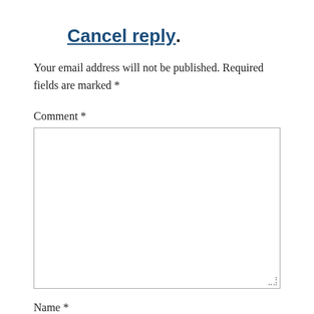Cancel reply.
Your email address will not be published. Required fields are marked *
Comment *
Name *